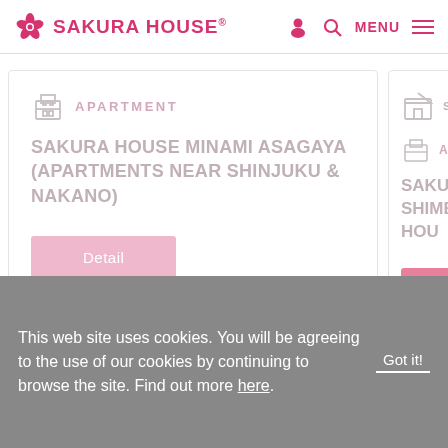SAKURA HOUSE®
[Figure (screenshot): Apartment card: SAKURA HOUSE MINAMI ASAGAYA (APARTMENTS NEAR SHINJUKU & NAKANO) with Detail button]
[Figure (screenshot): Partially visible second card: SHARE HOUSE / APARTMENT category with SAKURA HOUSE SHIMBASHI SHARE HOUSE text and Detail button]
[Figure (other): Carousel dots navigation: 5 dots, first active (pink), rest grey]
[Figure (logo): SAKURA HOUSE logo with cherry blossom icon in pink]
[Figure (other): Social media icons: Twitter, Facebook, Instagram, YouTube]
This web site uses cookies. You will be agreeing to the use of our cookies by continuing to browse the site. Find out more here.
Got it!